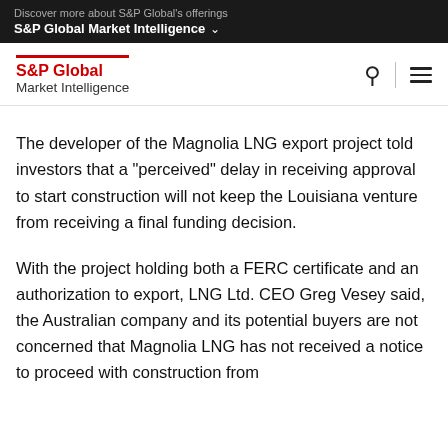Discover more about S&P Global's offerings
S&P Global Market Intelligence
S&P Global Market Intelligence
The developer of the Magnolia LNG export project told investors that a "perceived" delay in receiving approval to start construction will not keep the Louisiana venture from receiving a final funding decision.
With the project holding both a FERC certificate and an authorization to export, LNG Ltd. CEO Greg Vesey said, the Australian company and its potential buyers are not concerned that Magnolia LNG has not received a notice to proceed with construction from